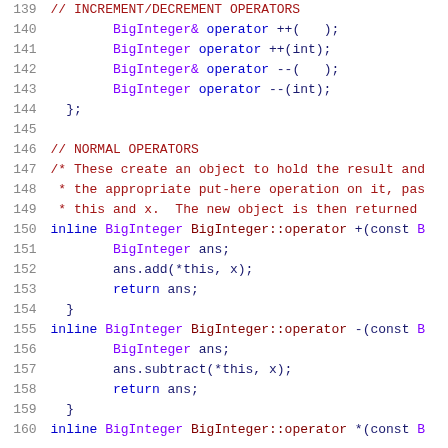[Figure (screenshot): Source code listing in C++ showing BigInteger class declarations and inline operator definitions. Lines 139-160. Dark theme syntax highlighting with line numbers on left, code on right. Colors: gray line numbers, red for comments, purple/blue for types, olive/maroon for operators and punctuation.]